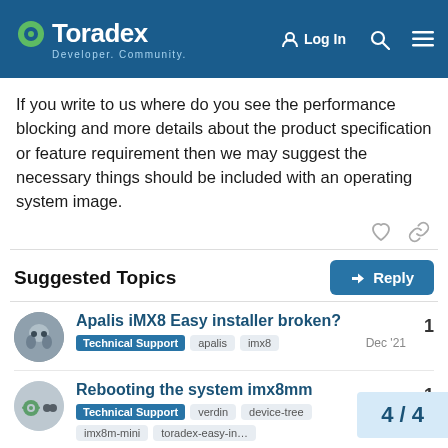Toradex Developer. Community. | Log In
If you write to us where do you see the performance blocking and more details about the product specification or feature requirement then we may suggest the necessary things should be included with an operating system image.
Suggested Topics
Apalis iMX8 Easy installer broken?
Technical Support   apalis   imx8   Dec '21   1
Rebooting the system imx8mm
Technical Support   verdin   device-tree   imx8m-mini   toradex-easy-in...   Jan 18   1
4 / 4